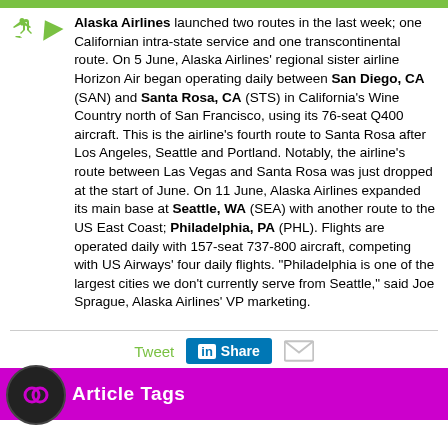Alaska Airlines launched two routes in the last week; one Californian intra-state service and one transcontinental route. On 5 June, Alaska Airlines' regional sister airline Horizon Air began operating daily between San Diego, CA (SAN) and Santa Rosa, CA (STS) in California's Wine Country north of San Francisco, using its 76-seat Q400 aircraft. This is the airline's fourth route to Santa Rosa after Los Angeles, Seattle and Portland. Notably, the airline's route between Las Vegas and Santa Rosa was just dropped at the start of June. On 11 June, Alaska Airlines expanded its main base at Seattle, WA (SEA) with another route to the US East Coast; Philadelphia, PA (PHL). Flights are operated daily with 157-seat 737-800 aircraft, competing with US Airways' four daily flights. "Philadelphia is one of the largest cities we don't currently serve from Seattle," said Joe Sprague, Alaska Airlines' VP marketing.
[Figure (other): Social sharing buttons: Tweet, LinkedIn Share, and email icon]
Article Tags
Alaska Airlines
PHL
SAN
SEA
STS